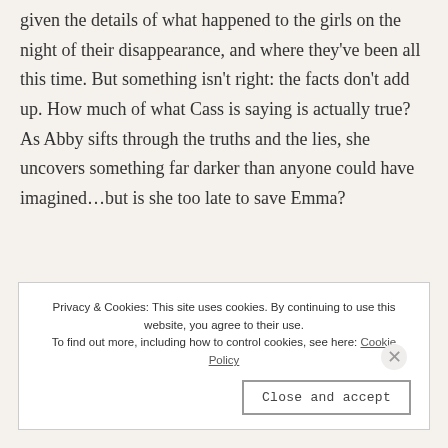given the details of what happened to the girls on the night of their disappearance, and where they've been all this time. But something isn't right: the facts don't add up. How much of what Cass is saying is actually true? As Abby sifts through the truths and the lies, she uncovers something far darker than anyone could have imagined…but is she too late to save Emma?
Privacy & Cookies: This site uses cookies. By continuing to use this website, you agree to their use. To find out more, including how to control cookies, see here: Cookie Policy
Close and accept